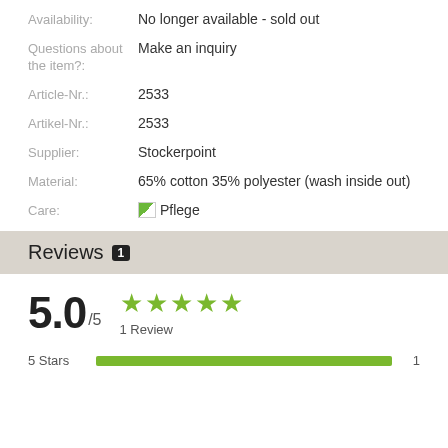Availability: No longer available - sold out
Questions about the item?: Make an inquiry
Article-Nr.: 2533
Artikel-Nr.: 2533
Supplier: Stockerpoint
Material: 65% cotton 35% polyester (wash inside out)
Care: Pflege
Reviews 1
5.0 /5  ★★★★★  1 Review
5 Stars  1